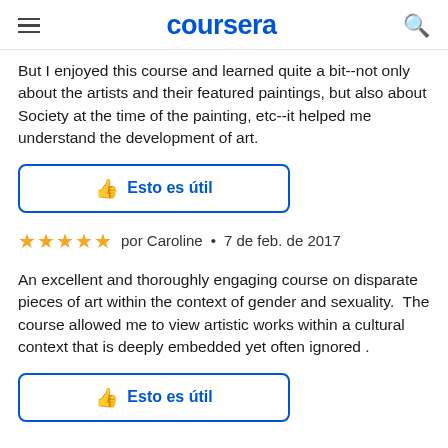coursera
But I enjoyed this course and learned quite a bit--not only about the artists and their featured paintings, but also about Society at the time of the painting, etc--it helped me understand the development of art.
[Figure (other): Thumbs up button with text 'Esto es útil' (This is useful) in blue, with rounded border]
★★★★★  por Caroline  •  7 de feb. de 2017
An excellent and thoroughly engaging course on disparate pieces of art within the context of gender and sexuality.  The course allowed me to view artistic works within a cultural context that is deeply embedded yet often ignored .
[Figure (other): Thumbs up button with text 'Esto es útil' (This is useful) in blue, with rounded border]